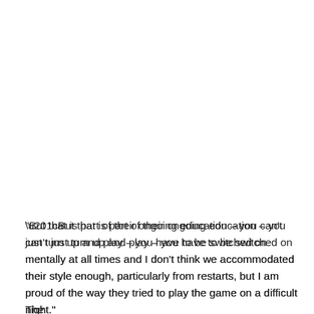“But that is part of their ongoing education – you can’t just turn up and play – you have to be switched on mentally at all times and I don’t think we accommodated their style enough, particularly from restarts, but I am proud of the way they tried to play the game on a difficult night.”
The...